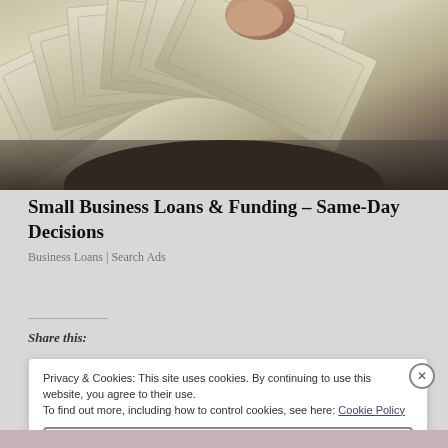[Figure (photo): Hand holding a fanned-out spread of US $100 dollar bills, close-up photo against a neutral background]
Small Business Loans & Funding – Same-Day Decisions
Business Loans | Search Ads
Share this:
Privacy & Cookies: This site uses cookies. By continuing to use this website, you agree to their use. To find out more, including how to control cookies, see here: Cookie Policy
Close and accept